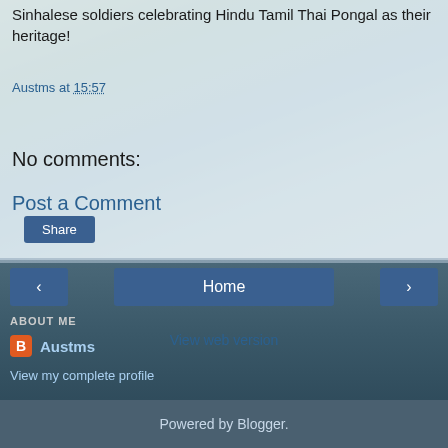Sinhalese soldiers celebrating Hindu Tamil Thai Pongal as their heritage!
Austms at 15:57
Share
No comments:
Post a Comment
< Home >
View web version
ABOUT ME
Austms
View my complete profile
Powered by Blogger.